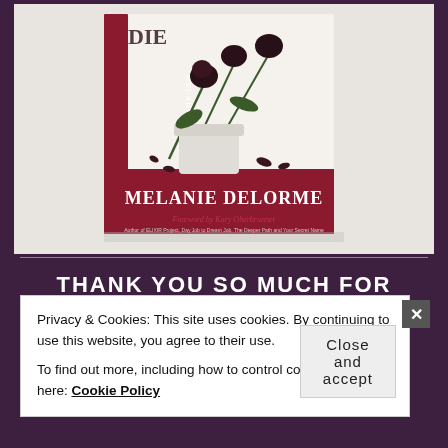[Figure (photo): Book cover photo showing a hardcover book titled with author name MELANIE DELORME on the spine and cover. The cover features dark/black roses in a white vase on a white surface, with scattered rose petals. Text reads 'Foreword by Kary Oberbrunner' and 'Author of ELIXIR Project, Day Job to Dream Job, The Deeper Path and Your Secret Name'.]
THANK YOU SO MUCH FOR
Privacy & Cookies: This site uses cookies. By continuing to use this website, you agree to their use.
To find out more, including how to control cookies, see here: Cookie Policy
Close and accept